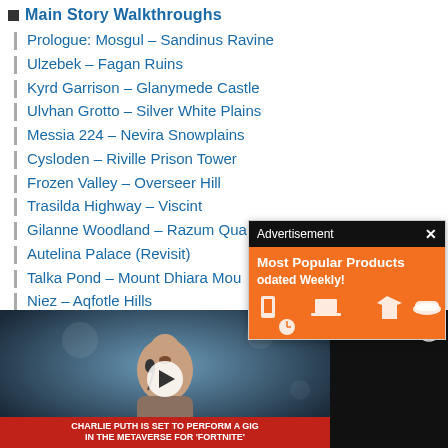Main Story Walkthroughs
Prologue: Mosgul – Sandinus Ravine
Ulzebek – Fagan Ruins
Kyrd Garrison – Glanymede Castle
Ulvhan Grotto – Silver White Plains
Messia 224 – Nevira Snowplains
Cysloden – Riville Prison Tower
Frozen Valley – Overseer Hill
Trasilda Highway – Viscint
Gilanne Woodland – Razum Qua
Autelina Palace (Revisit)
Talka Pond – Mount Dhiara Mou
Niez – Aqfotle Hills
Este Luvah Forest – Adan Ruins
Mobile Fortress Gradia
[Figure (screenshot): Advertisement overlay showing 'Most Popular Products Updated Weekly!' on orange background with product icons]
[Figure (photo): Video player showing Charlie Puth performing, with caption 'CHARLIE PUTH IS SET TO PERFORM A GIG IN THE METAVERSE FOR FORTNITE']